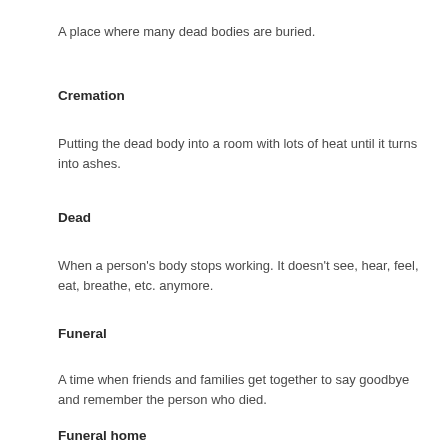A place where many dead bodies are buried.
Cremation
Putting the dead body into a room with lots of heat until it turns into ashes.
Dead
When a person's body stops working. It doesn't see, hear, feel, eat, breathe, etc. anymore.
Funeral
A time when friends and families get together to say goodbye and remember the person who died.
Funeral home